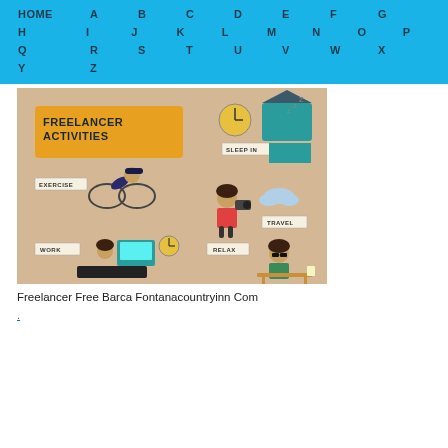HOME A B C D E F G H I J K L M N O P Q R S T U V W X Y Z
[Figure (infographic): Freelancer Activities infographic showing illustrated scenes: Sleep In (person sleeping with clock), Exercise (person on bicycle), Travel (person with camera and cloud), Work (person at desk with clock), Relax (person sitting at table with drink). Beige/tan background with teal and yellow accents.]
Freelancer Free Barca Fontanacountryinn Com
.